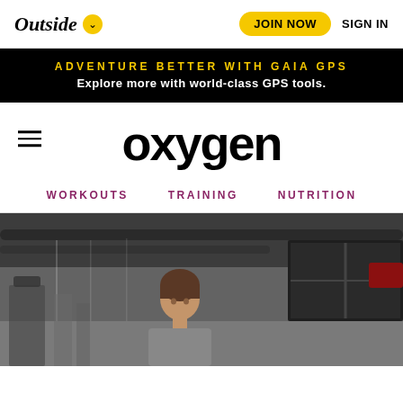Outside — JOIN NOW   SIGN IN
ADVENTURE BETTER WITH GAIA GPS
Explore more with world-class GPS tools.
[Figure (logo): Oxygen magazine logo in large bold lowercase letters]
WORKOUTS   TRAINING   NUTRITION
[Figure (photo): Woman in a gym setting, industrial ceiling with pipes and ductwork visible, large windows/doors in background]